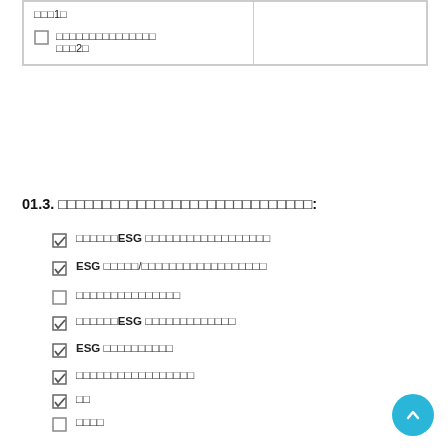| □□□1□
□ □□□□□□□□□□□□□□
□□□2□ |  |
01.3. □□□□□□□□□□□□□□□□□□□□□□□□□□□□□:
✓ □□□□□□ESG □□□□□□□□□□□□□□□□□□
✓ ESG □□□□□/□□□□□□□□□□□□□□□□□□
□ □□□□□□□□□□□□□□
✓ □□□□□□ESG □□□□□□□□□□□□□
✓ ESG □□□□□□□□□□
✓ □□□□□□□□□□□□□□□□□
✓ □□
□ □□□□
□ □□□□□□□□□□□□□□□□□□□□□□□□□□
□ □□□□RI□□□□□□□□□□□□□□□□□ (1)
□ □□□□RI□□□□□□□□□□□□□□□□□ (2)